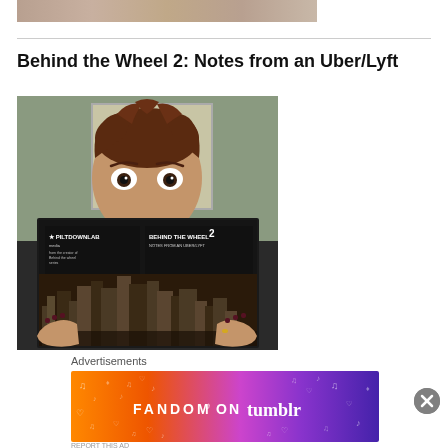[Figure (photo): Cropped top portion of a photo showing hands and lower part of a face]
Behind the Wheel 2: Notes from an Uber/Lyft
[Figure (photo): Person holding up a booklet titled 'Behind the Wheel 2: Notes from an Uber/Lyft' covering their lower face, with wide eyes visible above it. The booklet shows a city skyline on the cover.]
Advertisements
[Figure (other): Fandom on Tumblr advertisement banner with colorful gradient background (orange to purple) with decorative musical notes and hearts, text reads FANDOM ON tumblr]